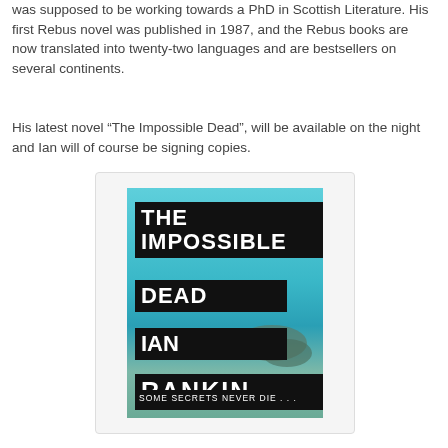was supposed to be working towards a PhD in Scottish Literature. His first Rebus novel was published in 1987, and the Rebus books are now translated into twenty-two languages and are bestsellers on several continents.
His latest novel “The Impossible Dead”, will be available on the night and Ian will of course be signing copies.
[Figure (illustration): Book cover of 'The Impossible Dead' by Ian Rankin. Teal/aqua background showing birds flying over a seascape. Bold white text on black bars reads: THE IMPOSSIBLE DEAD / IAN / RANKIN. Tagline at bottom: SOME SECRETS NEVER DIE...]